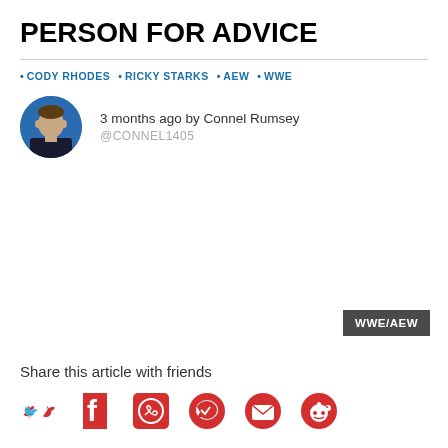PERSON FOR ADVICE
• CODY RHODES  • RICKY STARKS  • AEW  • WWE
3 months ago by Connel Rumsey @CONNEL1405
[Figure (other): Circular avatar photo of author Connel Rumsey]
WWE/AEW
Share this article with friends
[Figure (other): Social share icons: Twitter, Facebook, WhatsApp, Messenger, Email, Reddit]